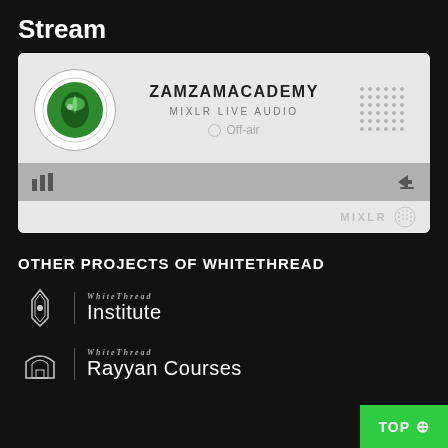Stream
[Figure (screenshot): Mixlr audio player card showing ZAMZAMACADEMY, MIXLR LIVE AUDIO, Off-air status with logo and dot pattern, playback bar and share icon, and MIXLR branding footer]
OTHER PROJECTS OF WHITETHREAD
[Figure (logo): WhiteThread Institute logo with diamond/arch icon and vertical bar separator]
WhiteThread Institute
[Figure (logo): WhiteThread Rayyan Courses logo with arch/building icon and vertical bar separator]
WhiteThread Rayyan Courses